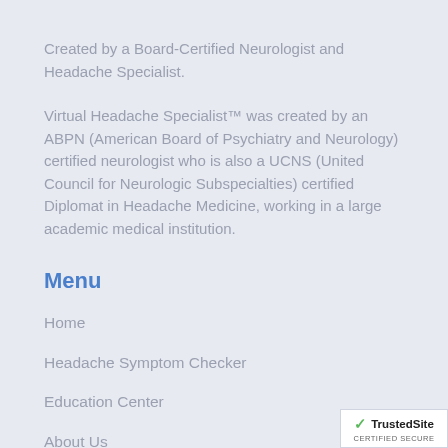Created by a Board-Certified Neurologist and Headache Specialist.
Virtual Headache Specialist™ was created by an ABPN (American Board of Psychiatry and Neurology) certified neurologist who is also a UCNS (United Council for Neurologic Subspecialties) certified Diplomat in Headache Medicine, working in a large academic medical institution.
Menu
Home
Headache Symptom Checker
Education Center
About Us
Blog
[Figure (logo): TrustedSite Certified Secure badge with green checkmark]